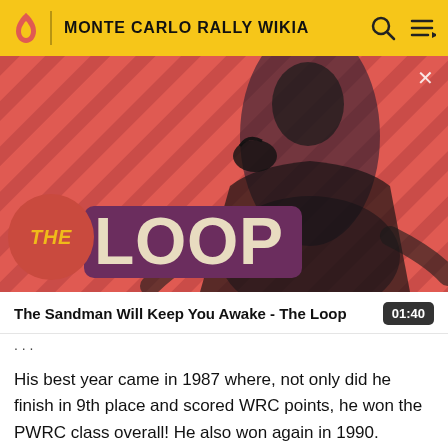MONTE CARLO RALLY WIKIA
[Figure (screenshot): The Loop Wikia banner advertisement showing a man in black with a crow on his shoulder against a red diagonal striped background, with THE LOOP logo text overlay]
The Sandman Will Keep You Awake - The Loop  01:40
His best year came in 1987 where, not only did he finish in 9th place and scored WRC points, he won the PWRC class overall! He also won again in 1990.